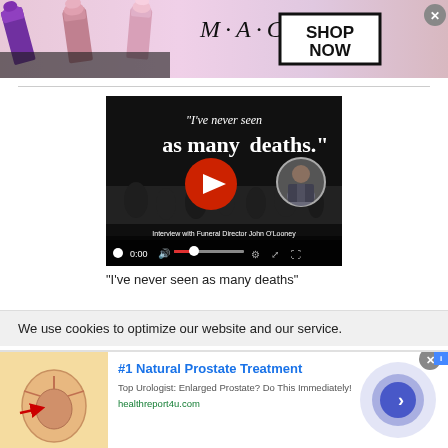[Figure (photo): MAC cosmetics advertisement banner showing colorful lipsticks on left and right, MAC logo in center, SHOP NOW box on right side]
[Figure (screenshot): Video player with black background showing text 'I've never seen as many deaths.' with red play button, person circle portrait on right, video controls bar at bottom, caption 'Interview with Funeral Director John O'Looney']
"I've never seen as many deaths"
We use cookies to optimize our website and our service.
[Figure (photo): Advertisement for #1 Natural Prostate Treatment showing anatomical prostate illustration on left, text content in middle, circular blue arrow button on right. URL: healthreport4u.com]